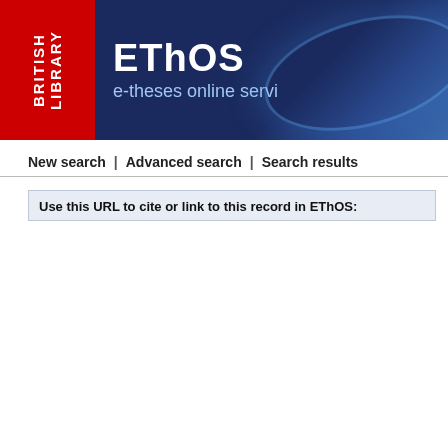[Figure (logo): EThOS e-theses online service banner with British Library red logo on left and dark blue background with EThOS title text on right]
New search | Advanced search | Search results
Use this URL to cite or link to this record in EThOS:
| Title: | Minimisation of invert |
| Author: | Mergen, Ahmet F. |
| Awarding Body: | Loughborough University |
| Current Institution: | Loughborough University |
| Date of Award: | 1977 |